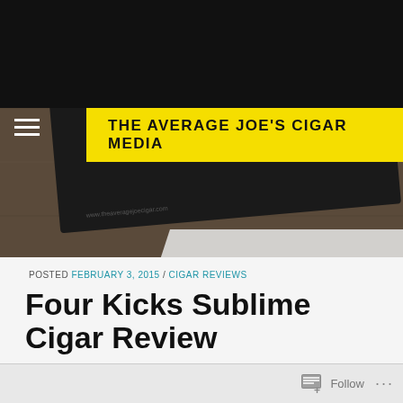THE AVERAGE JOE'S CIGAR MEDIA
[Figure (photo): Business cards for The Average Joe's Cigar brand on a wooden surface, showing a blue hat logo with stylized face on dark card]
POSTED FEBRUARY 3, 2015 / CIGAR REVIEWS
Four Kicks Sublime Cigar Review
Follow